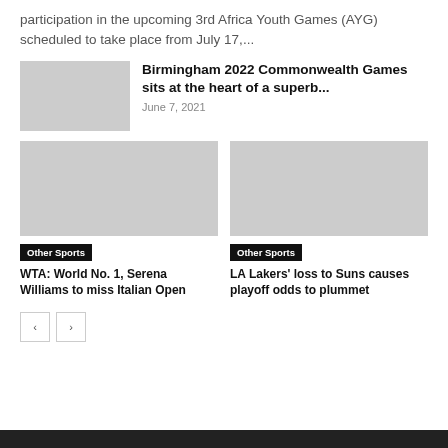participation in the upcoming 3rd Africa Youth Games (AYG) scheduled to take place from July 17,...
Birmingham 2022 Commonwealth Games sits at the heart of a superb...
June 7, 2021
[Figure (photo): Image placeholder for Birmingham 2022 Commonwealth Games article]
[Figure (photo): Image placeholder left card - WTA Serena Williams]
[Figure (photo): Image placeholder right card - LA Lakers]
Other Sports
WTA: World No. 1, Serena Williams to miss Italian Open
Other Sports
LA Lakers' loss to Suns causes playoff odds to plummet